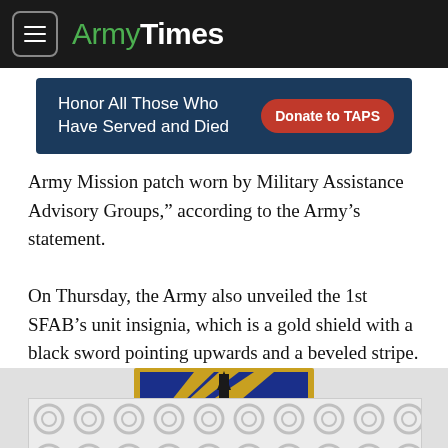ArmyTimes
[Figure (other): ArmyTimes advertisement banner: 'Honor All Those Who Have Served and Died' with a red 'Donate to TAPS' button on a dark blue background]
Army Mission patch worn by Military Assistance Advisory Groups,” according to the Army’s statement.
On Thursday, the Army also unveiled the 1st SFAB’s unit insignia, which is a gold shield with a black sword pointing upwards and a beveled stripe.
[Figure (illustration): Unit insignia of the 1st SFAB: a gold shield with blue background, diagonal gold stripes, and a black sword pointing upward in the center]